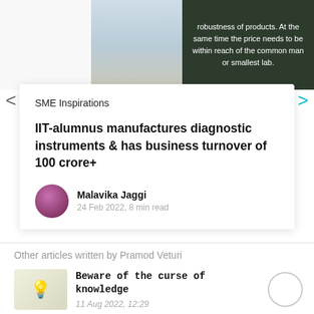[Figure (photo): Photo of a man in a light blue suit with glasses, partially cropped, alongside a dark card with white text about product robustness and price.]
robustness of products. At the same time the price needs to be within reach of the common man or smallest lab.
SME Inspirations
IIT-alumnus manufactures diagnostic instruments & has business turnover of 100 crore+
Malavika Jaggi
24 Feb 2022, 8 min read
Other articles written by Pramod Veturi
Beware of the curse of knowledge
11 Aug 2022, 12:29